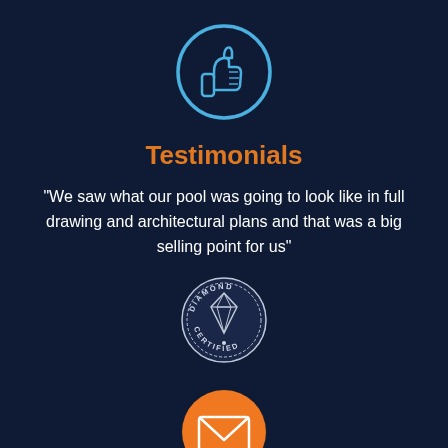[Figure (illustration): Thumbs up icon inside a circle, drawn in blue outline style on dark navy background]
Testimonials
"We saw what our pool was going to look like in full drawing and architectural plans and that was a big selling point for us"
[Figure (logo): Diamond Certified badge/seal with text DIAMOND CERTIFIED around a diamond gem illustration]
[Figure (illustration): Email/envelope icon inside a filled orange circle]